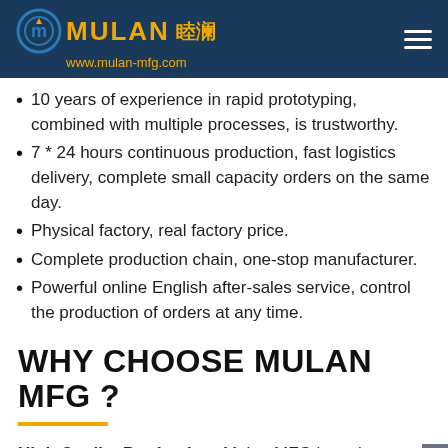MULAN 睦澜 www.mulan-mfg.com
10 years of experience in rapid prototyping, combined with multiple processes, is trustworthy.
7 * 24 hours continuous production, fast logistics delivery, complete small capacity orders on the same day.
Physical factory, real factory price.
Complete production chain, one-stop manufacturer.
Powerful online English after-sales service, control the production of orders at any time.
WHY CHOOSE MULAN MFG ?
High Quality Production :Mulan MFG has always